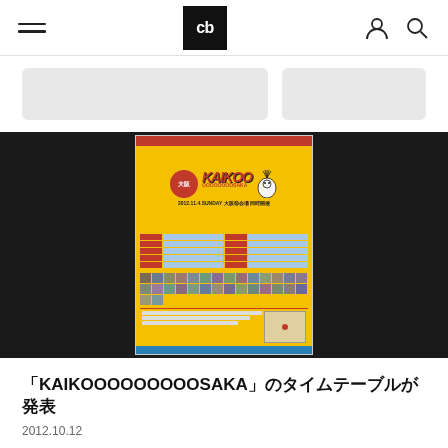cb (Crunchbase logo)
[Figure (screenshot): A yellow event poster for KAIKOOOOOOOOOSAKA music festival dated 2012.11.4 SUNDAY, showing schedule listings, artist photos grid, and venue map, displayed on a dark/black background with partially visible card thumbnails above]
「KAIKOOOOOOOOOSAKA」のタイムテーブルが発表
2012.10.12